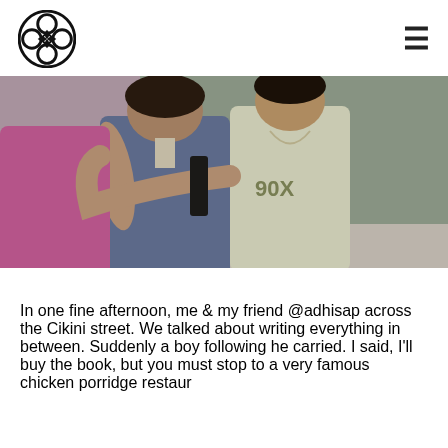[logo] [hamburger menu]
[Figure (photo): Black and white photograph of several children/young girls, one in a denim vest hugging another from behind, cropped at waist level, indoor setting]
In one fine afternoon, me & my friend @adhisap across the Cikini street. We talked about writing everything in between. Suddenly a boy following he carried. I said, I'll buy the book, but you must stop to a very famous chicken porridge restaur